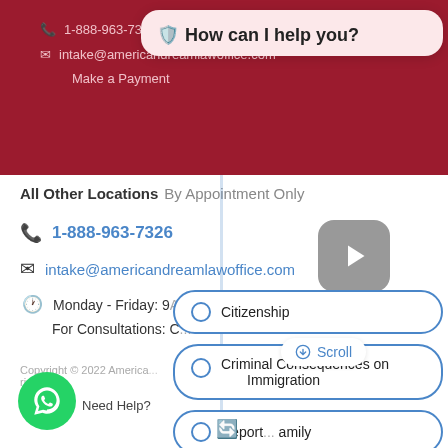1-888-963-7326 | intake@americandreamlawoffice.com | Make a Payment
[Figure (screenshot): Chat popup overlay asking 'How can I help you?' with emoji icons]
All Other Locations By Appointment Only
1-888-963-7326
intake@americandreamlawoffice.com
Monday - Friday: 9AM - 5PM
For Consultations: C...
[Figure (screenshot): Video play button (grey rounded square with white play triangle)]
Citizenship
Criminal Consequences on Immigration
Deport... ...amily
Copyright © 2022 American... rights reserved
Need Help?